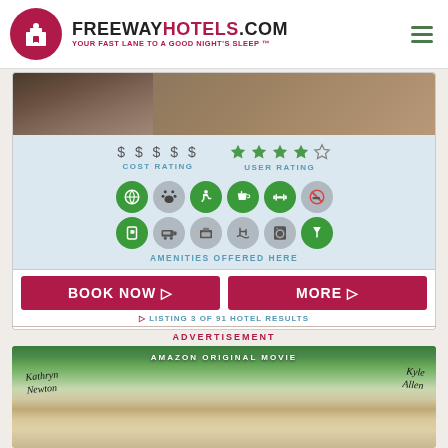FREEWAYHOTELS.COM - YOUR FAST LANE TO A GOOD NIGHT'S SLEEP ™
[Figure (photo): Hotel interior photo thumbnail]
$ $ $ $ $  COST RATING
★ ★ ★ ★ ☆  USER RATING
[Figure (infographic): Amenity icons: internet, pets, accessible, coffee/breakfast, fitness, no-smoking, parking, shuttle, business center, pool, laundry, bar]
AMENITIES OFFERED HERE
BOOK NOW ▷
MORE ▷
▷ LISTING 3 OF 91 HOTEL RESULTS
ADVERTISEMENT
[Figure (photo): Amazon Original Movie advertisement - The Map of Tiny Perfect Things, featuring Kathryn Newton and Kyle Allen]